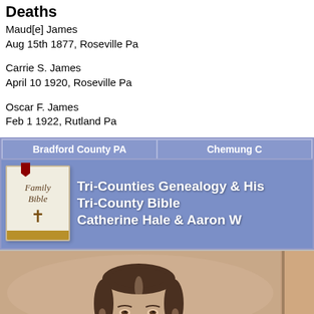Deaths
Maud[e] James
Aug 15th 1877, Roseville Pa
Carrie S. James
April 10 1920, Roseville Pa
Oscar F. James
Feb 1 1922, Rutland Pa
[Figure (screenshot): Website navigation banner for Tri-Counties Genealogy & History, showing tabs for Bradford County PA and Chemung C[ounty], a Family Bible icon, and text: Tri-Counties Genealogy & His[tory], Tri-County Bible, Catherine Hale & Aaron W[...]]
[Figure (photo): Sepia-toned portrait photograph of a woman with hair pulled back, looking slightly upward, wearing dark clothing. Partial view of a second photo at right edge.]